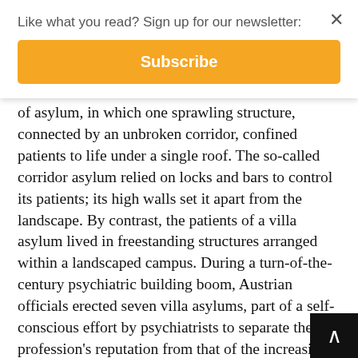Like what you read? Sign up for our newsletter:
Subscribe
of asylum, in which one sprawling structure, connected by an unbroken corridor, confined patients to life under a single roof. The so-called corridor asylum relied on locks and bars to control its patients; its high walls set it apart from the landscape. By contrast, the patients of a villa asylum lived in freestanding structures arranged within a landscaped campus. During a turn-of-the-century psychiatric building boom, Austrian officials erected seven villa asylums, part of a self-conscious effort by psychiatrists to separate their profession's reputation from that of the increasingly deplored corridor asylum, which looked and felt like a prison.

But this design transition had a medical objective as well. Liberal psychiatrists contended that the corridor asylum exacerbated rather than cured mental illness.